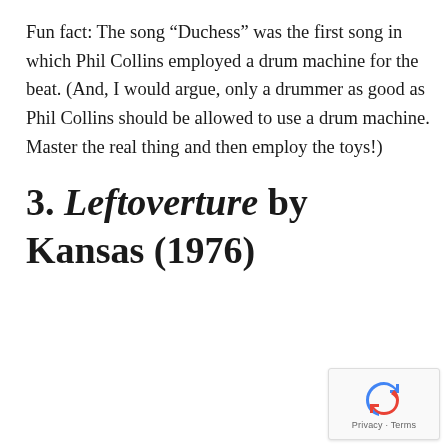Fun fact: The song “Duchess” was the first song in which Phil Collins employed a drum machine for the beat. (And, I would argue, only a drummer as good as Phil Collins should be allowed to use a drum machine. Master the real thing and then employ the toys!)
3. Leftoverture by Kansas (1976)
[Figure (other): Google reCAPTCHA badge with Privacy and Terms links]